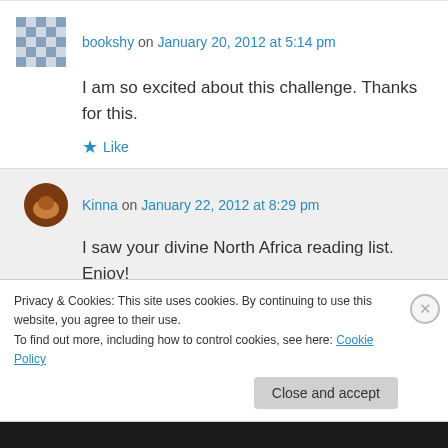bookshy on January 20, 2012 at 5:14 pm
I am so excited about this challenge. Thanks for this.
★ Like
Kinna on January 22, 2012 at 8:29 pm
I saw your divine North Africa reading list. Enjoy!
Privacy & Cookies: This site uses cookies. By continuing to use this website, you agree to their use.
To find out more, including how to control cookies, see here: Cookie Policy
Close and accept